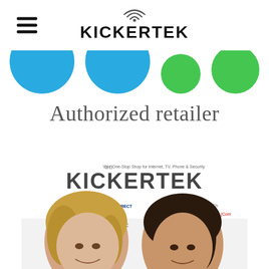[Figure (logo): Kickertek logo with wifi signal arcs above the text KICKERTEK in bold uppercase letters]
[Figure (illustration): Row of colored circles (blue and green) partially cropped at the top — decorative brand element]
Authorized retailer
[Figure (photo): Photo of two women smiling in front of a Kickertek banner that reads 'Your One-Stop Shop for Internet, TV, Phone & Security' with brand logos including exede, DIRECTV, COX, Charter, and Comcast visible]